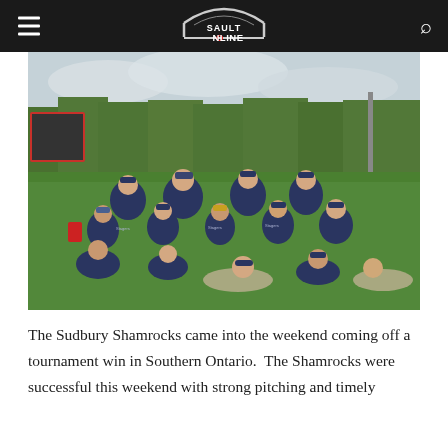SaultOnline navigation bar
[Figure (photo): Group photo of the Sudbury Shamrocks youth baseball team posed on a grass field at a baseball diamond. Players are wearing navy blue uniforms. Coaches and players arranged in rows, some sitting/lying on the grass.]
The Sudbury Shamrocks came into the weekend coming off a tournament win in Southern Ontario.  The Shamrocks were successful this weekend with strong pitching and timely